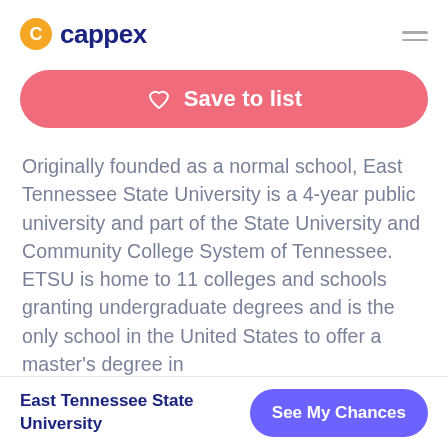cappex
Save to list
Originally founded as a normal school, East Tennessee State University is a 4-year public university and part of the State University and Community College System of Tennessee. ETSU is home to 11 colleges and schools granting undergraduate degrees and is the only school in the United States to offer a master’s degree in
East Tennessee State University | See My Chances